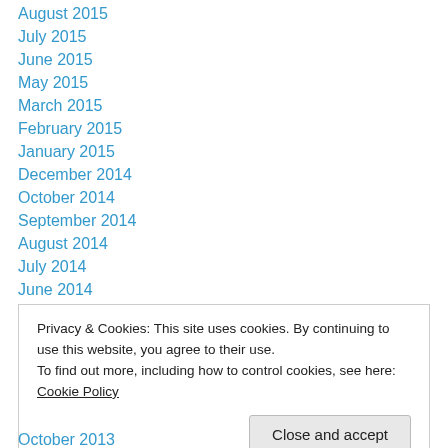August 2015
July 2015
June 2015
May 2015
March 2015
February 2015
January 2015
December 2014
October 2014
September 2014
August 2014
July 2014
June 2014
Privacy & Cookies: This site uses cookies. By continuing to use this website, you agree to their use. To find out more, including how to control cookies, see here: Cookie Policy
October 2013